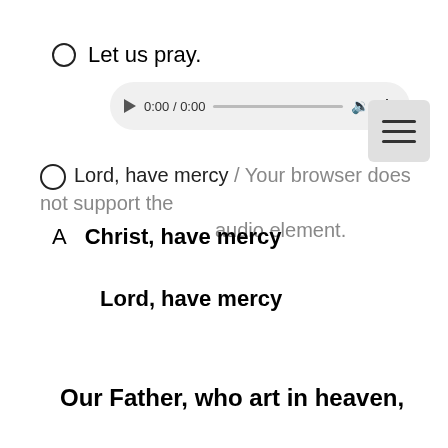O  Let us pray.
[Figure (screenshot): Audio player widget showing 0:00 / 0:00 with play button, progress bar, volume icon, and menu dots]
[Figure (screenshot): Hamburger menu icon (three horizontal lines) on a light gray rounded square background]
O  Lord, have mercy / Your browser does not support the audio element.
A  Christ, have mercy
Lord, have mercy
Our Father, who art in heaven,